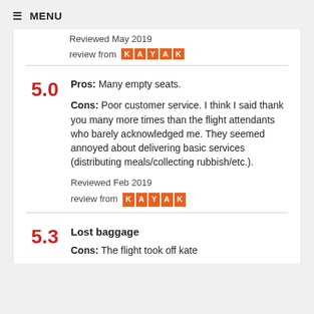≡ MENU
Reviewed May 2019
review from KAYAK
Pros: Many empty seats. Cons: Poor customer service. I think I said thank you many more times than the flight attendants who barely acknowledged me. They seemed annoyed about delivering basic services (distributing meals/collecting rubbish/etc.).
Reviewed Feb 2019
review from KAYAK
Lost baggage
Cons: The flight took off kate